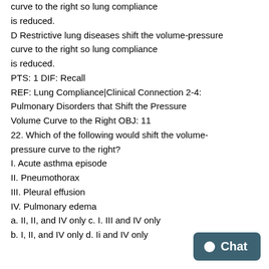curve to the right so lung compliance is reduced.
D Restrictive lung diseases shift the volume-pressure curve to the right so lung compliance is reduced.
PTS: 1 DIF: Recall
REF: Lung Compliance|Clinical Connection 2-4: Pulmonary Disorders that Shift the Pressure Volume Curve to the Right OBJ: 11
22. Which of the following would shift the volume-pressure curve to the right?
I. Acute asthma episode
II. Pneumothorax
III. Pleural effusion
IV. Pulmonary edema
a. II, II, and IV only c. I. III and IV only
b. I, II, and IV only d. Ii and IV only